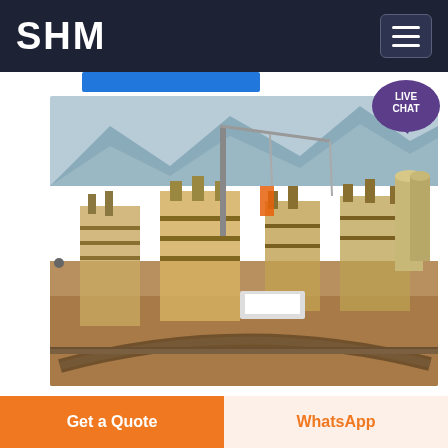SHM
[Figure (photo): Aerial view of a large coal mining industrial facility with cranes, conveyor belts, processing structures, and mountains in the background.]
Coal Mining in Indonesia
17 10 2021  The Indonesian coal industry is rather fragmented with only a few big producers and many small players that own coal mines and coal mine